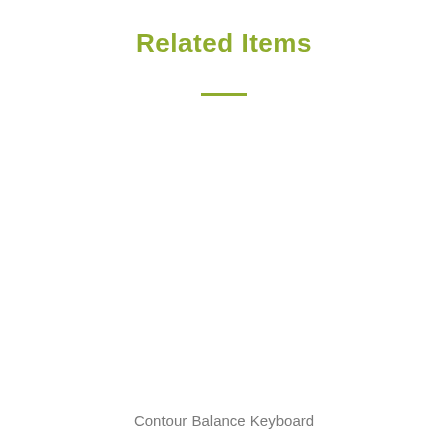Related Items
Contour Balance Keyboard